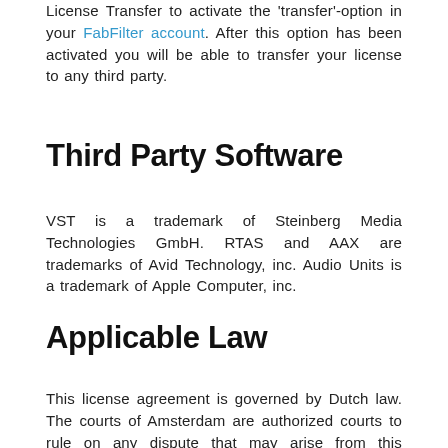License Transfer to activate the 'transfer'-option in your FabFilter account. After this option has been activated you will be able to transfer your license to any third party.
Third Party Software
VST is a trademark of Steinberg Media Technologies GmbH. RTAS and AAX are trademarks of Avid Technology, inc. Audio Units is a trademark of Apple Computer, inc.
Applicable Law
This license agreement is governed by Dutch law. The courts of Amsterdam are authorized courts to rule on any dispute that may arise from this license agreement.